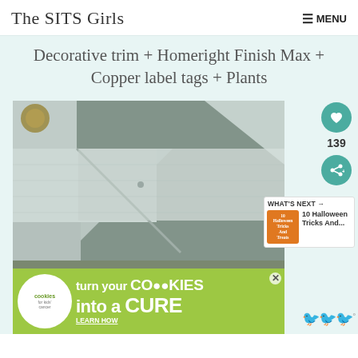The SITS Girls   ≡ MENU
Decorative trim + Homeright Finish Max + Copper label tags + Plants
[Figure (photo): Close-up photo of painted wooden trim/molding corners with silver-gray paint, showing joinery details on a craft project. A DIY woodworking craft piece with decorative trim painted in a metallic gray/silver color.]
[Figure (infographic): Advertisement banner: cookies for kids' cancer - turn your COOKIES into a CURE LEARN HOW]
139
WHAT'S NEXT → 10 Halloween Tricks And...